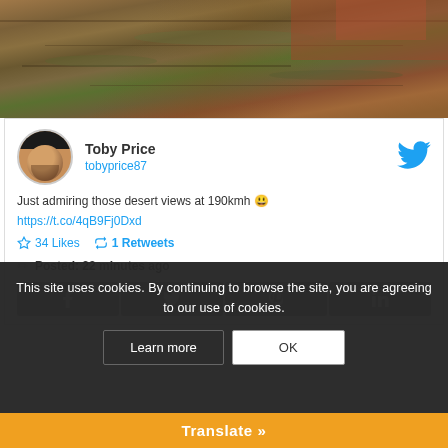[Figure (photo): Aerial view of desert landscape with red rock terrain and sparse vegetation]
Toby Price
tobyprice87
Just admiring those desert views at 190kmh 😊
https://t.co/4qB9Fj0Dxd
34 Likes  1 Retweets
Posted: 22 minutes ago
This site uses cookies. By continuing to browse the site, you are agreeing to our use of cookies.
Learn more  OK
Translate »